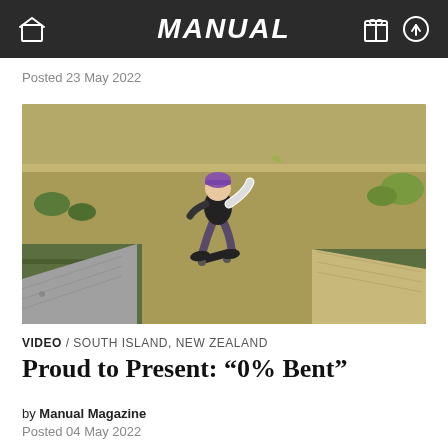MANUAL
Posted 23 May 2022
[Figure (photo): Skateboarder mid-air performing a trick over concrete ramps at an outdoor skate spot. The skater wears a purple beanie, dark jacket, grey pants. Background shows dry grass lawn and green-painted ramp structures.]
VIDEO / SOUTH ISLAND, NEW ZEALAND
Proud to Present: “0% Bent”
by Manual Magazine
Posted 04 May 2022